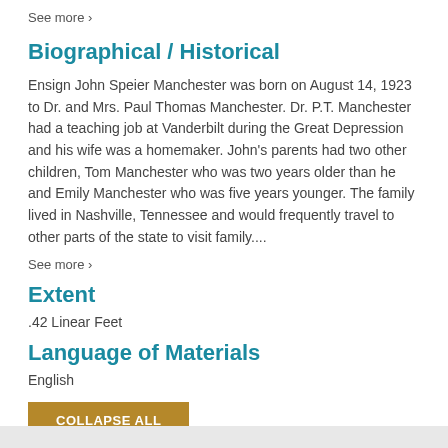See more ›
Biographical / Historical
Ensign John Speier Manchester was born on August 14, 1923 to Dr. and Mrs. Paul Thomas Manchester. Dr. P.T. Manchester had a teaching job at Vanderbilt during the Great Depression and his wife was a homemaker. John's parents had two other children, Tom Manchester who was two years older than he and Emily Manchester who was five years younger. The family lived in Nashville, Tennessee and would frequently travel to other parts of the state to visit family....
See more ›
Extent
.42 Linear Feet
Language of Materials
English
COLLAPSE ALL